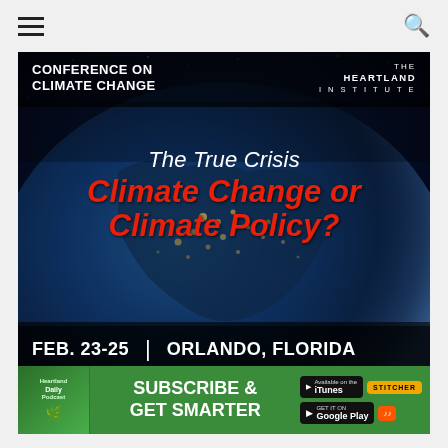≡  🔍
[Figure (illustration): Heartland Institute Conference on Climate Change banner ad. Shows Earth from space at night over North America with city lights visible. Text reads: CONFERENCE ON CLIMATE CHANGE | THE HEARTLAND INSTITUTE | The True Crisis | Climate Change or Climate Policy? | FEB. 23-25 | ORLANDO, FLORIDA]
[Figure (infographic): Subscribe & Get Smarter podcast banner for Heartland Daily Podcast, with iTunes, Stitcher, Google Play, and SoundCloud app buttons]